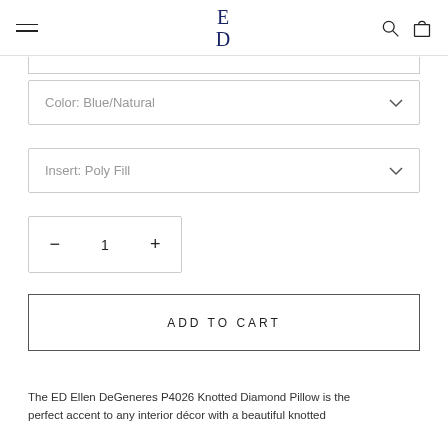ED — Ellen DeGeneres brand navigation header with hamburger menu, ED logo, search and bag icons
Color: Blue/Natural
Insert: Poly Fill
1
ADD TO CART
The ED Ellen DeGeneres P4026 Knotted Diamond Pillow is the perfect accent to any interior décor with a beautiful knotted